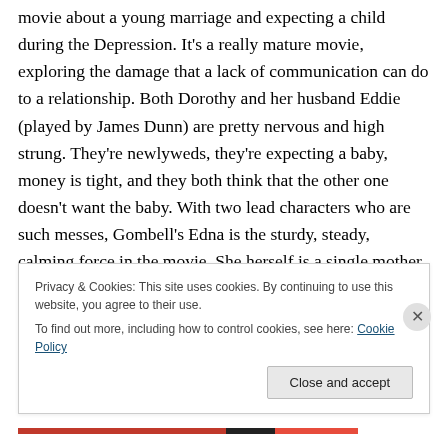movie about a young marriage and expecting a child during the Depression. It's a really mature movie, exploring the damage that a lack of communication can do to a relationship. Both Dorothy and her husband Eddie (played by James Dunn) are pretty nervous and high strung. They're newlyweds, they're expecting a baby, money is tight, and they both think that the other one doesn't want the baby. With two lead characters who are such messes, Gombell's Edna is the sturdy, steady, calming force in the movie. She herself is a single mother,
Privacy & Cookies: This site uses cookies. By continuing to use this website, you agree to their use.
To find out more, including how to control cookies, see here: Cookie Policy
Close and accept